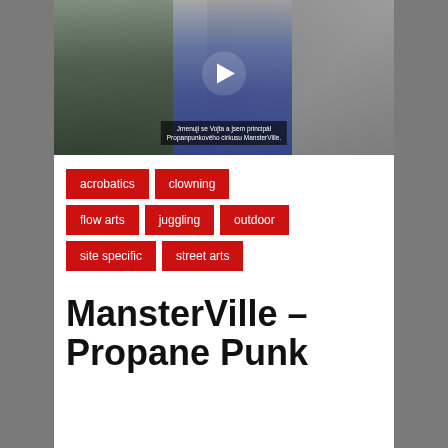[Figure (screenshot): Video thumbnail showing a circus performer in a bathtub on stage with large metal wheel structure in background. Subtitle text reads: 'Jmenuji se Vojta a jsem principál Propanpunkového cirkusu MansterVille.' Play button overlay visible.]
acrobatics
clowning
flow arts
juggling
outdoor
site specific
street arts
MansterVille – Propane Punk